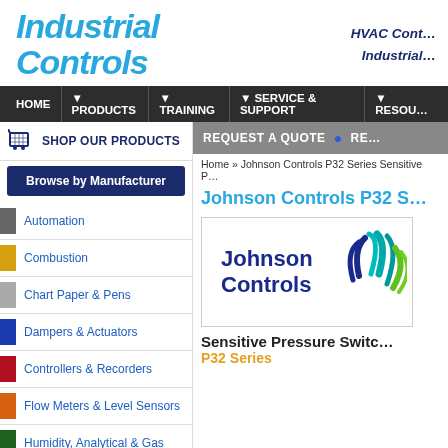[Figure (logo): Industrial Controls company logo in blue italic bold text]
HVAC Cont…
Industrial…
HOME | ▼ PRODUCTS | ▼ TRAINING | ▼ SERVICE & SUPPORT | ▼ RESOU…
SHOP OUR PRODUCTS
Browse by Manufacturer
REQUEST A QUOTE • RE…
Home » Johnson Controls P32 Series Sensitive P…
Johnson Controls P32 S…
[Figure (logo): Johnson Controls logo with blue text and colorful wave graphic]
Sensitive Pressure Switc…
P32 Series
Automation
Combustion
Chart Paper & Pens
Dampers & Actuators
Controllers & Recorders
Flow Meters & Level Sensors
Humidity, Analytical & Gas